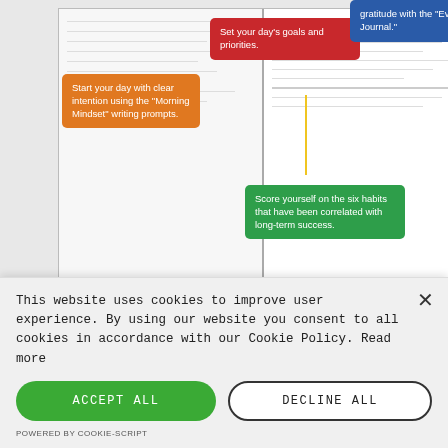[Figure (infographic): An open planner/notebook with four callout bubbles: orange bubble saying 'Start your day with clear intention using the Morning Mindset writing prompts.', red bubble saying 'Set your day's goals and priorities.', blue bubble saying 'gratitude with the Evening Journal.', green bubble saying 'Score yourself on the six habits that have been correlated with long-term success.' A gray bar at the bottom reads 'DAILY PAGES' in white bold text.]
The High Performance Planner Features
This website uses cookies to improve user experience. By using our website you consent to all cookies in accordance with our Cookie Policy. Read more
ACCEPT ALL
DECLINE ALL
POWERED BY COOKIE-SCRIPT